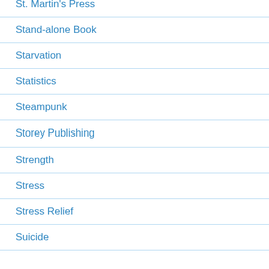St. Martin's Press
Stand-alone Book
Starvation
Statistics
Steampunk
Storey Publishing
Strength
Stress
Stress Relief
Suicide